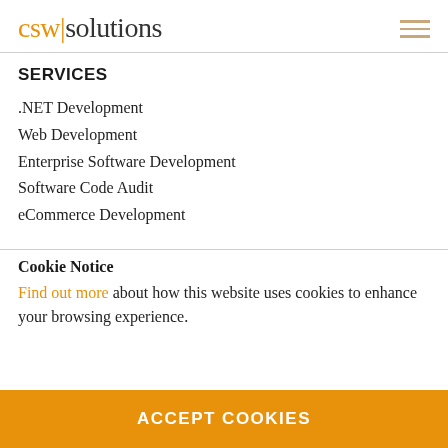csw|solutions
SERVICES
.NET Development
Web Development
Enterprise Software Development
Software Code Audit
eCommerce Development
Cookie Notice
Find out more about how this website uses cookies to enhance your browsing experience.
ACCEPT COOKIES